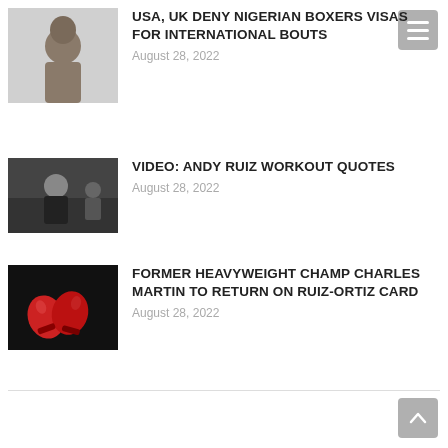[Figure (photo): Shirtless male boxer, portrait crop, light background]
USA, UK DENY NIGERIAN BOXERS VISAS FOR INTERNATIONAL BOUTS
August 28, 2022
[Figure (photo): Man in black shirt smiling in a boxing gym environment]
VIDEO: ANDY RUIZ WORKOUT QUOTES
August 28, 2022
[Figure (photo): Red boxing gloves on a dark background]
FORMER HEAVYWEIGHT CHAMP CHARLES MARTIN TO RETURN ON RUIZ-ORTIZ CARD
August 28, 2022